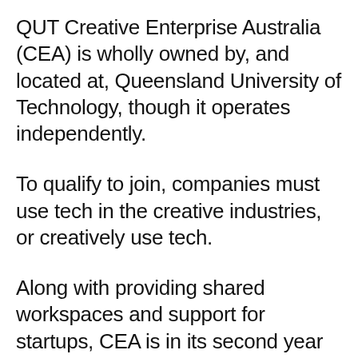QUT Creative Enterprise Australia (CEA) is wholly owned by, and located at, Queensland University of Technology, though it operates independently.
To qualify to join, companies must use tech in the creative industries, or creatively use tech.
Along with providing shared workspaces and support for startups, CEA is in its second year of the Collider accelerator program, which as program lead and entrepreneur-in-residence Alan Jones says,